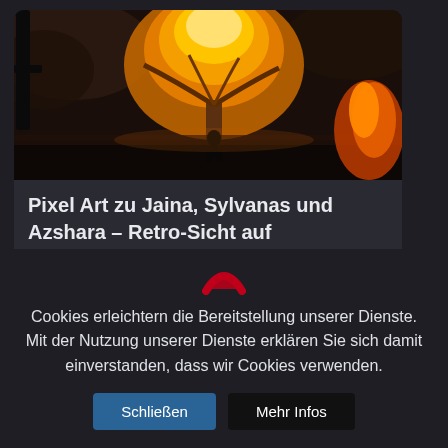[Figure (illustration): Fantasy pixel art scene with a large glowing golden tree, a small silhouetted figure standing before it, dramatic orange and dark smoke clouds, fire on the right side, dark sword/pole on the left.]
Pixel Art zu Jaina, Sylvanas und Azshara – Retro-Sicht auf Kriegsbringer-Kurzfilme
[Figure (logo): Red crescent/arc logo icon, resembling a curved red shape]
Cookies erleichtern die Bereitstellung unserer Dienste. Mit der Nutzung unserer Dienste erklären Sie sich damit einverstanden, dass wir Cookies verwenden.
Schließen
Mehr Infos